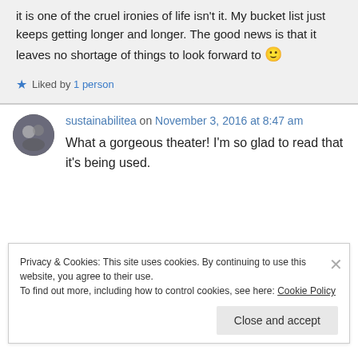it is one of the cruel ironies of life isn't it. My bucket list just keeps getting longer and longer. The good news is that it leaves no shortage of things to look forward to 🙂
★ Liked by 1 person
sustainabilitea on November 3, 2016 at 8:47 am
What a gorgeous theater! I'm so glad to read that it's being used.
Privacy & Cookies: This site uses cookies. By continuing to use this website, you agree to their use. To find out more, including how to control cookies, see here: Cookie Policy